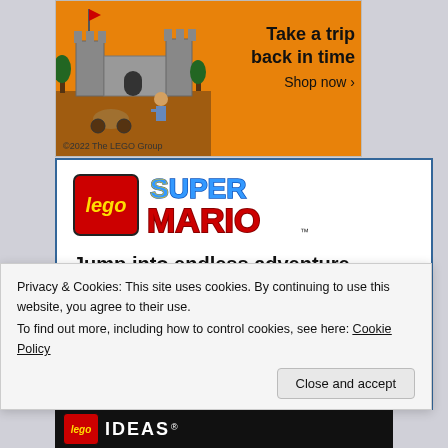[Figure (illustration): LEGO castle advertisement banner with orange background, LEGO castle set image on left, text 'Take a trip back in time' and 'Shop now >' on right, copyright '©2022 The LEGO Group' at bottom left]
[Figure (illustration): LEGO Super Mario advertisement card on white background with blue border. Shows LEGO logo (red box with yellow italic text) and Super Mario colorful logo. Text: 'Jump into endless adventure', 'Shop Now >', and LEGO Super Mario castle set image.]
Privacy & Cookies: This site uses cookies. By continuing to use this website, you agree to their use.
To find out more, including how to control cookies, see here: Cookie Policy
Close and accept
[Figure (logo): LEGO IDEAS logo strip at bottom, white text on dark background]